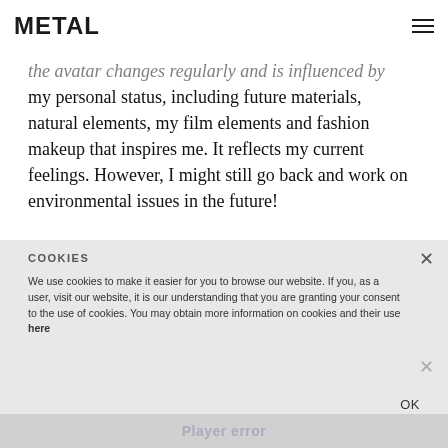METAL
the avatar changes regularly and is influenced by my personal status, including future materials, natural elements, my film elements and fashion makeup that inspires me. It reflects my current feelings. However, I might still go back and work on environmental issues in the future!
COOKIES
We use cookies to make it easier for you to browse our website. If you, as a user, visit our website, it is our understanding that you are granting your consent to the use of cookies. You may obtain more information on cookies and their use here
OK
Player error